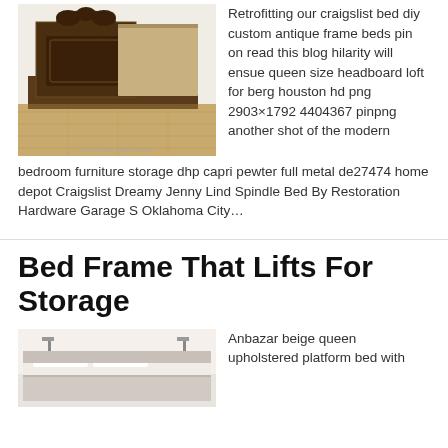[Figure (photo): Antique dark wood bed frame with ornate headboard, shown partially assembled in a room with light hardwood floors and white walls. Watermark reads VICTORIAELIZABETH.COM or similar.]
Retrofitting our craigslist bed diy custom antique frame beds pin on read this blog hilarity will ensue queen size headboard loft for berg houston hd png 2903×1792 4404367 pinpng another shot of the modern bedroom furniture storage dhp capri pewter full metal de27474 home depot Craigslist Dreamy Jenny Lind Spindle Bed By Restoration Hardware Garage S Oklahoma City…
Bed Frame That Lifts For Storage
[Figure (photo): Modern upholstered platform bed with wall-mounted lights, shown in a bedroom setting.]
Anbazar beige queen upholstered platform bed with